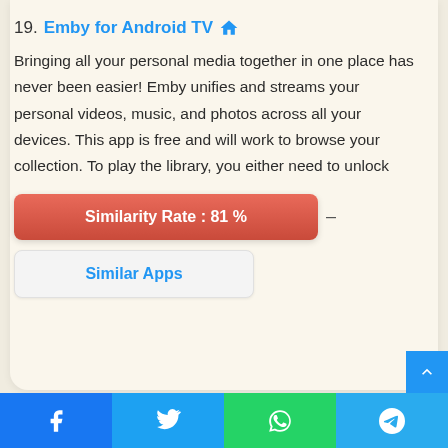19. Emby for Android TV
Bringing all your personal media together in one place has never been easier! Emby unifies and streams your personal videos, music, and photos across all your devices. This app is free and will work to browse your collection. To play the library, you either need to unlock
Similarity Rate : 81 %
Similar Apps